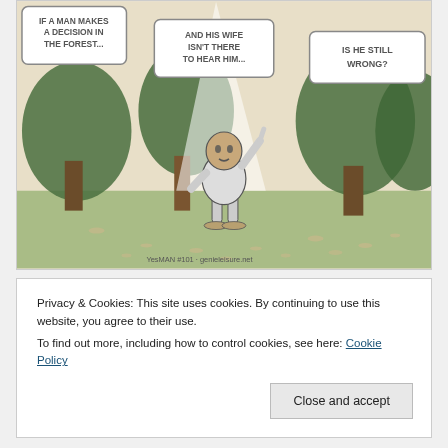[Figure (illustration): Comic strip panel showing a man standing in a forest with a spotlight on him, pointing his finger upward. Speech bubbles read: 'IF A MAN MAKES A DECISION IN THE FOREST...' and 'AND HIS WIFE ISN'T THERE TO HEAR HIM...' and 'IS HE STILL WRONG?' Caption at bottom: 'YesMAN #101 - genieleisure.net']
Privacy & Cookies: This site uses cookies. By continuing to use this website, you agree to their use.
To find out more, including how to control cookies, see here: Cookie Policy
Close and accept